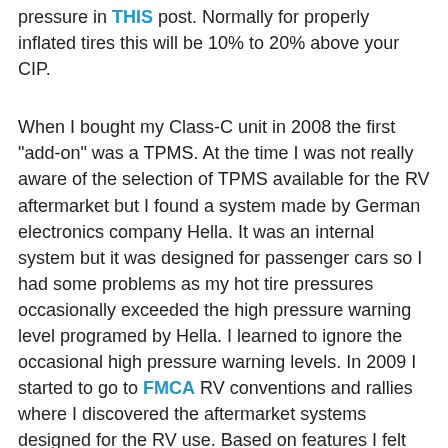pressure in THIS post. Normally for properly inflated tires this will be 10% to 20% above your CIP.
When I bought my Class-C unit in 2008 the first "add-on" was a TPMS. At the time I was not really aware of the selection of TPMS available for the RV aftermarket but I found a system made by German electronics company Hella. It was an internal system but it was designed for passenger cars so I had some problems as my hot tire pressures occasionally exceeded the high pressure warning level programed by Hella. I learned to ignore the occasional high pressure warning levels. In 2009 I started to go to FMCA RV conventions and rallies where I discovered the aftermarket systems designed for the RV use. Based on features I felt important, I purchased a TireTraker TPMS. When we bought our new 2016 Class-C coach, I needed a new TPMS and selected the TireTraker TT500 as I felt the features plus the lifetime guarantee made it the best option available for me.